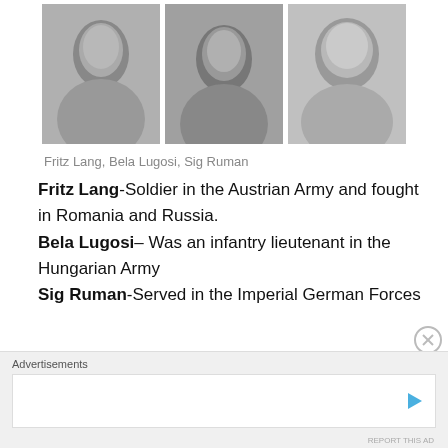[Figure (photo): Three black and white portrait photos side by side: Fritz Lang (left), Bela Lugosi (center), Sig Ruman (right)]
Fritz Lang, Bela Lugosi, Sig Ruman
Fritz Lang-Soldier in the Austrian Army and fought in Romania and Russia.
Bela Lugosi– Was an infantry lieutenant in the Hungarian Army
Sig Ruman-Served in the Imperial German Forces
[Figure (other): Advertisement banner area with play button icon]
Advertisements